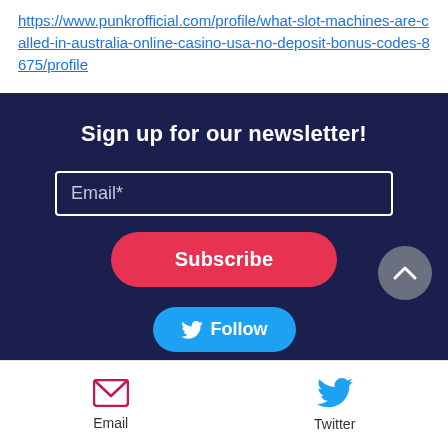https://www.punkrofficial.com/profile/what-slot-machines-are-called-in-australia-online-casino-usa-no-deposit-bonus-codes-8675/profile
[Figure (infographic): Newsletter sign-up section with dark navy background, bold white heading 'Sign up for our newsletter!', an email input field, a red Subscribe button, a Twitter Follow button, and a scroll-to-top circular button. Bottom bar with Email and Twitter icons.]